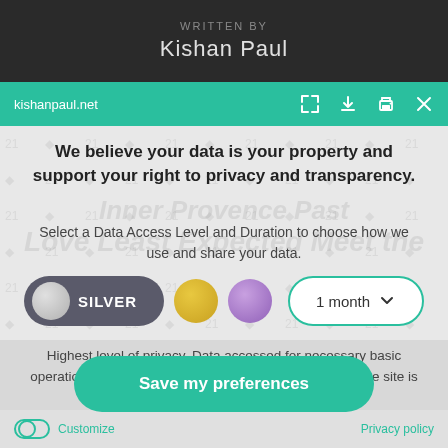WRITTEN BY
Kishan Paul
kishanpaul.net
We believe your data is your property and support your right to privacy and transparency.
Select a Data Access Level and Duration to choose how we use and share your data.
[Figure (screenshot): Privacy consent dialog with a silver toggle switch selected (SILVER), a gold circle, a purple circle, and a 1 month dropdown selector]
Highest level of privacy. Data accessed for necessary basic operations only. Data shared with 3rd parties to ensure the site is secure and works on your device
Save my preferences
Customize
Privacy policy